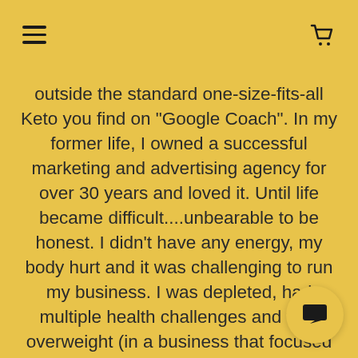outside the standard one-size-fits-all Keto you find on "Google Coach".  In my former life, I owned a  successful marketing and advertising agency for over 30 years and loved it.  Until life became difficult....unbearable to be honest. I  didn't have any energy, my body hurt and it was challenging to run my business.  I was depleted, had multiple health challenges and was overweight (in a business that focused on glamour, required tireless h... endless creativity and spunk).  Of w... had none!